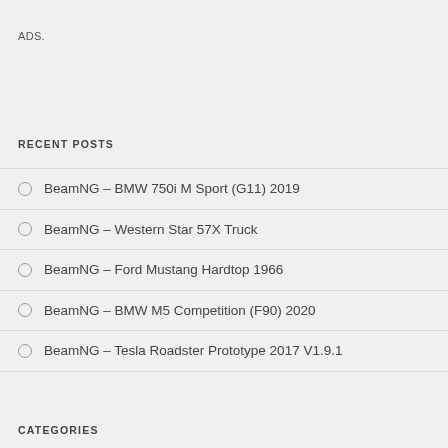ADS.
RECENT POSTS
BeamNG – BMW 750i M Sport (G11) 2019
BeamNG – Western Star 57X Truck
BeamNG – Ford Mustang Hardtop 1966
BeamNG – BMW M5 Competition (F90) 2020
BeamNG – Tesla Roadster Prototype 2017 V1.9.1
CATEGORIES